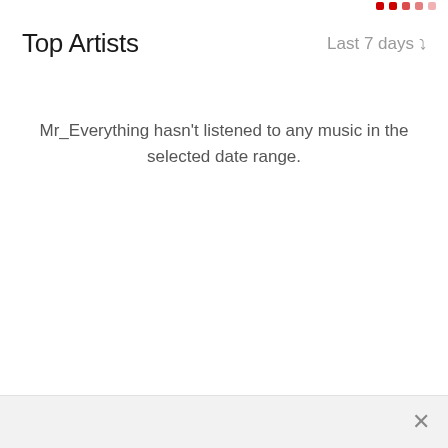[Figure (screenshot): Red dotted/dashed decorative element in top-right corner]
Top Artists
Last 7 days ▾
Mr_Everything hasn't listened to any music in the selected date range.
×